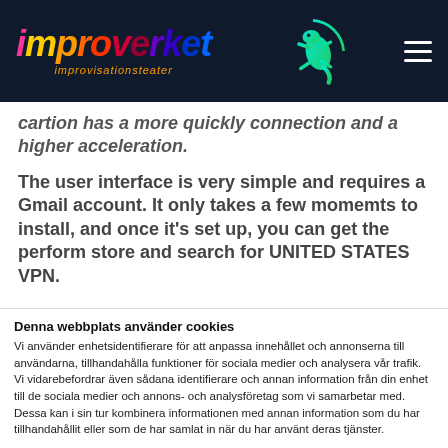improverket improvisationsteater
cartion has a more quickly connection and a higher acceleration.
The user interface is very simple and requires a Gmail account. It only takes a few momemts to install, and once it's set up, you can get the perform store and search for UNITED STATES VPN.
Denna webbplats använder cookies
Vi använder enhetsidentifierare för att anpassa innehållet och annonserna till användarna, tillhandahålla funktioner för sociala medier och analysera vår trafik. Vi vidarebefordrar även sådana identifierare och annan information från din enhet till de sociala medier och annons- och analysföretag som vi samarbetar med. Dessa kan i sin tur kombinera informationen med annan information som du har tillhandahållit eller som de har samlat in när du har använt deras tjänster.